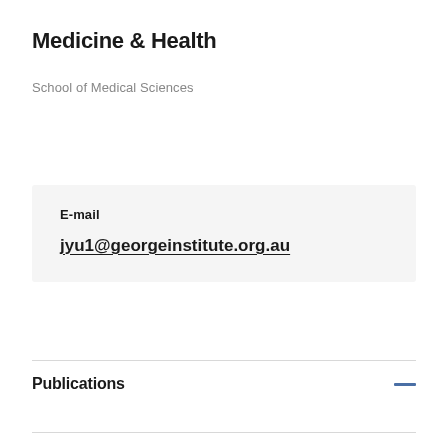Medicine & Health
School of Medical Sciences
E-mail
jyu1@georgeinstitute.org.au
Publications